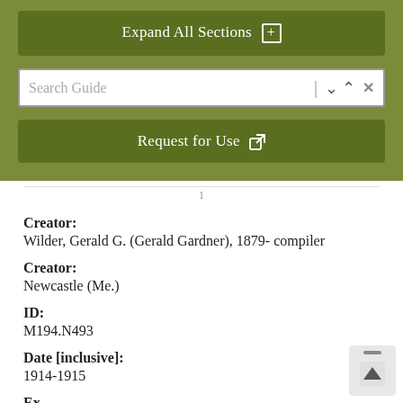Expand All Sections
Search Guide
Request for Use
1
Creator:
Wilder, Gerald G. (Gerald Gardner), 1879- compiler
Creator:
Newcastle (Me.)
ID:
M194.N493
Date [inclusive]:
1914-1915
Extent